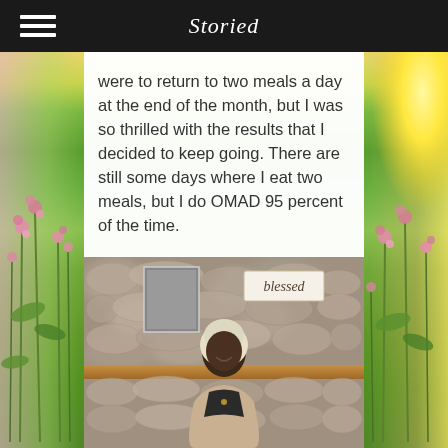Storied
were to return to two meals a day at the end of the month, but I was so thrilled with the results that I decided to keep going.  There are still some days where I eat two meals, but I do OMAD 95 percent of the time.
[Figure (photo): A smiling woman wearing a white head wrap and beige blazer over a dark top, standing in front of a stone fireplace with a wooden mantle. A 'blessed' sign is visible to her right, and a framed photo is visible behind her to the left.]